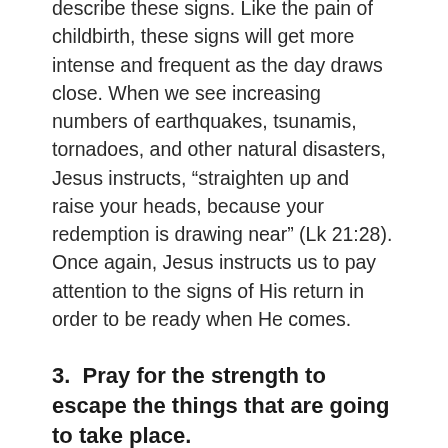describe these signs. Like the pain of childbirth, these signs will get more intense and frequent as the day draws close. When we see increasing numbers of earthquakes, tsunamis, tornadoes, and other natural disasters, Jesus instructs, “straighten up and raise your heads, because your redemption is drawing near” (Lk 21:28). Once again, Jesus instructs us to pay attention to the signs of His return in order to be ready when He comes.
3.  Pray for the strength to escape the things that are going to take place.
In Luke 21:36, Jesus taught his followers, “But stay awake at all times, praying that you may have strength to escape all these things that are going to take place, and to stand before the Son of Man.” From the context,